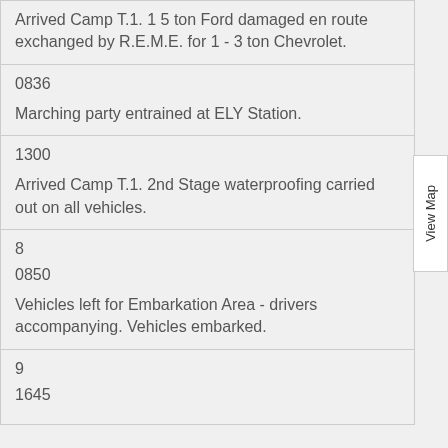Arrived Camp T.1. 1 5 ton Ford damaged en route exchanged by R.E.M.E. for 1 - 3 ton Chevrolet.
0836
Marching party entrained at ELY Station.
1300
Arrived Camp T.1. 2nd Stage waterproofing carried out on all vehicles.
8
0850
Vehicles left for Embarkation Area - drivers accompanying. Vehicles embarked.
9
1645